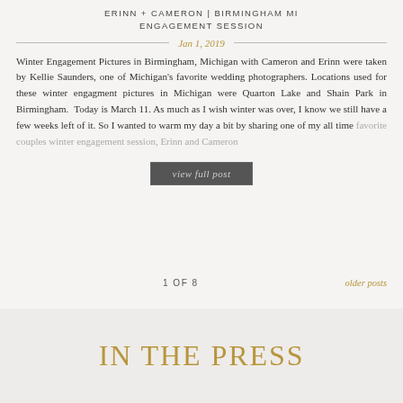ERINN + CAMERON | BIRMINGHAM MI
ENGAGEMENT SESSION
Jan 1, 2019
Winter Engagement Pictures in Birmingham, Michigan with Cameron and Erinn were taken by Kellie Saunders, one of Michigan's favorite wedding photographers. Locations used for these winter engagment pictures in Michigan were Quarton Lake and Shain Park in Birmingham.  Today is March 11. As much as I wish winter was over, I know we still have a few weeks left of it. So I wanted to warm my day a bit by sharing one of my all time favorite couples winter engagement session, Erinn and Cameron
view full post
1 OF 8
older posts
IN THE PRESS